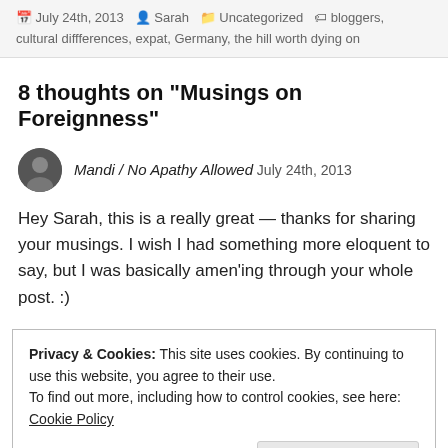July 24th, 2013  Sarah  Uncategorized  bloggers, cultural diffferences, expat, Germany, the hill worth dying on
8 thoughts on "Musings on Foreignness"
Mandi / No Apathy Allowed July 24th, 2013
Hey Sarah, this is a really great — thanks for sharing your musings. I wish I had something more eloquent to say, but I was basically amen'ing through your whole post. :)
Privacy & Cookies: This site uses cookies. By continuing to use this website, you agree to their use.
To find out more, including how to control cookies, see here: Cookie Policy
wasn't just blathering incoherently